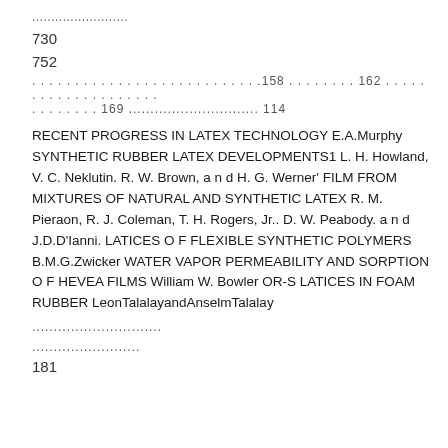......................
730
752
. . . . . . . . . . . . . . . . . . . . . . . . . . .158 . . . . . . . . 162 . . . . . . . . . . . . . . . . . . . . . . . . . . . . . . 169 .............................. 114
RECENT PROGRESS IN LATEX TECHNOLOGY E.A.Murphy SYNTHETIC RUBBER LATEX DEVELOPMENTS1 L. H. Howland, V. C. Neklutin. R. W. Brown, a n d H. G. Werner’ FILM FROM MIXTURES OF NATURAL AND SYNTHETIC LATEX R. M. Pieraon, R. J. Coleman, T. H. Rogers, Jr.. D. W. Peabody. a n d J.D.D’Ianni. LATICES O F FLEXIBLE SYNTHETIC POLYMERS B.M.G.Zwicker WATER VAPOR PERMEABILITY AND SORPTION O F HEVEA FILMS William W. Bowler OR-S LATICES IN FOAM RUBBER LeonTalalayandAnselmTalalay
..............................
.........................
181